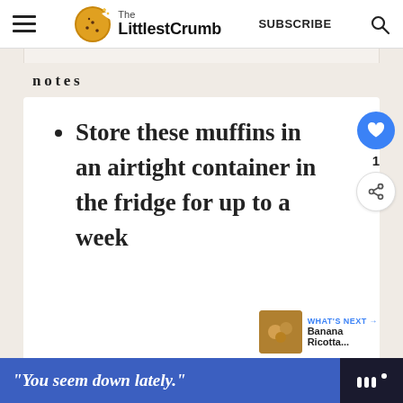The LittlestCrumb | SUBSCRIBE
notes
Store these muffins in an airtight container in the fridge for up to a week
WHAT'S NEXT → Banana Ricotta...
"You seem down lately."